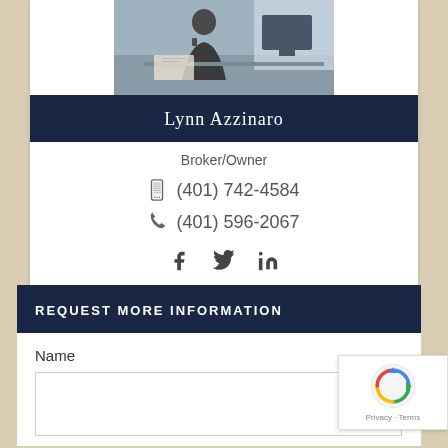[Figure (photo): Professional woman at desk in office setting]
Lynn Azzinaro
Broker/Owner
(401) 742-4584
(401) 596-2067
[Figure (infographic): Social media icons: Facebook, Twitter, LinkedIn]
REQUEST MORE INFORMATION
Name
[Figure (screenshot): reCAPTCHA widget with Privacy and Terms links]